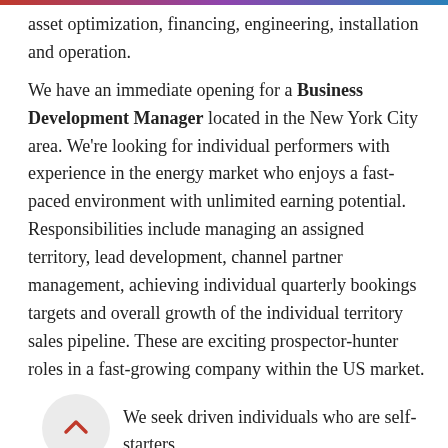asset optimization, financing, engineering, installation and operation.
We have an immediate opening for a Business Development Manager located in the New York City area. We're looking for individual performers with experience in the energy market who enjoys a fast-paced environment with unlimited earning potential. Responsibilities include managing an assigned territory, lead development, channel partner management, achieving individual quarterly bookings targets and overall growth of the individual territory sales pipeline.  These are exciting prospector-hunter roles in a fast-growing company within the US market.
We seek driven individuals who are self-starters, cultivators and closers focused on bringing new